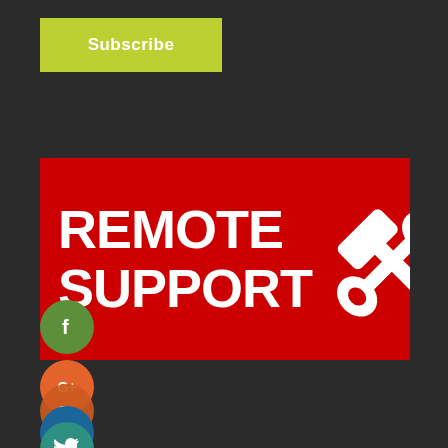[Figure (screenshot): Green Subscribe button in upper left corner]
[Figure (illustration): Red banner with white bold text REMOTE SUPPORT and crossed hammer and wrench tools icon on dark background]
[Figure (illustration): Social media icons column on left side: Facebook (green circle with f), Google+ (orange circle), Google+ (orange circle), LinkedIn (blue circle with in), Twitter (teal circle with bird)]